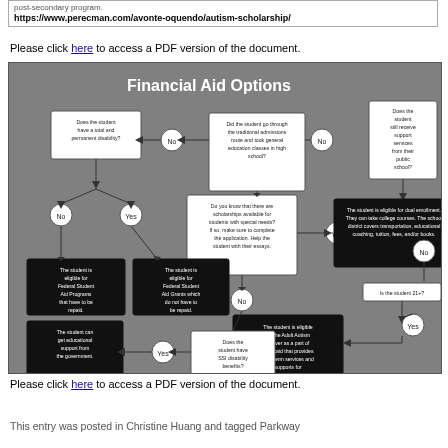post-secondary program.
https://www.perecman.com/avonte-oquendo/autism-scholarship/
Please click here to access a PDF version of the document.
[Figure (flowchart): Financial Aid Options flowchart showing decision paths for students regarding federal student aid programs, federal student aid grants, dual enrollment eligibility, adult autism waiver, and educational government support based on disability status, SSI benefits, school support services, and traditional admissions route.]
Please click here to access a PDF version of the document.
This entry was posted in Christine Huang and tagged Parkway